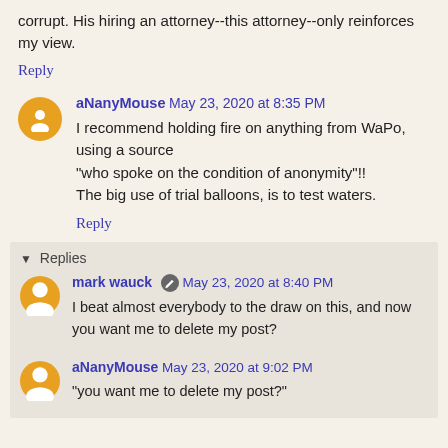corrupt. His hiring an attorney--this attorney--only reinforces my view.
Reply
aNanyMouse May 23, 2020 at 8:35 PM
I recommend holding fire on anything from WaPo, using a source "who spoke on the condition of anonymity"!!
The big use of trial balloons, is to test waters.
Reply
▼ Replies
mark wauck May 23, 2020 at 8:40 PM
I beat almost everybody to the draw on this, and now you want me to delete my post?
aNanyMouse May 23, 2020 at 9:02 PM
"you want me to delete my post?"